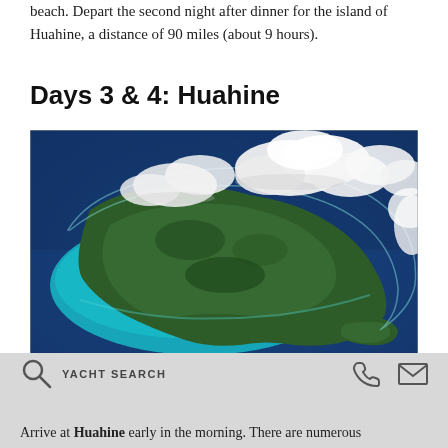beach. Depart the second night after dinner for the island of Huahine, a distance of 90 miles (about 9 hours).
Days 3 & 4: Huahine
[Figure (photo): Aerial photograph of the island of Huahine, French Polynesia, seen from above showing a lush green island surrounded by turquoise lagoon and deep blue ocean, with white clouds partially obscuring the view.]
YACHT SEARCH  Arrive at Huahine early in the morning. There are numerous
Arrive at Huahine early in the morning. There are numerous